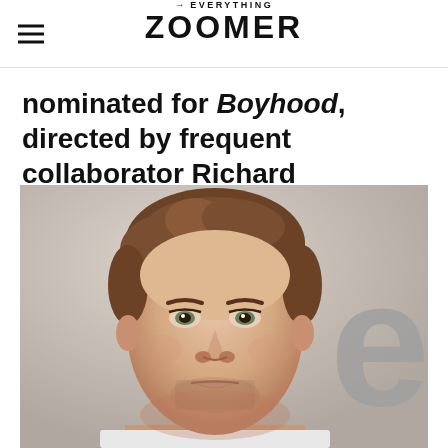→EVERYTHING ZOOMER
nominated for Boyhood, directed by frequent collaborator Richard Linklater.
[Figure (photo): Close-up portrait photo of a man with short brown hair and light stubble, looking directly at the camera. Gray letters 'el' visible in background on right side.]